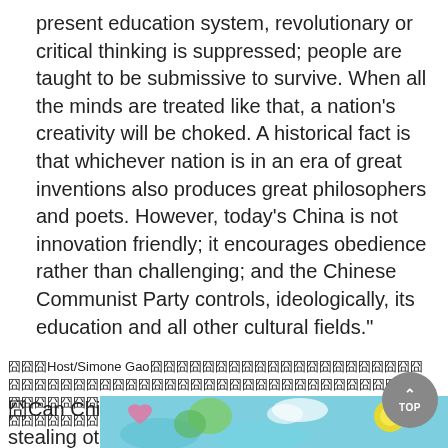present education system, revolutionary or critical thinking is suppressed; people are taught to be submissive to survive. When all the minds are treated like that, a nation's creativity will be choked. A historical fact is that whichever nation is in an era of great inventions also produces great philosophers and poets. However, today's China is not innovation friendly; it encourages obedience rather than challenging; and the Chinese Communist Party controls, ideologically, its education and all other cultural fields."
囧囧囧Host/Simone Gao囧囧囧囧囧囧囧囧囧囧囧囧囧囧囧囧囧囧囧囧囧囧囧囧囧囧囧囧囧囧囧囧囧囧囧囧囧囧囧囧囧囧囧囧囧囧囧囧囧囧囧囧囧囧囧囧囧囧囧囧囧囧囧囧
囧Can China become a tech superpower by stealing other companies' technology?"
[Figure (illustration): Partial image visible at the bottom of the page showing colorful cartoon/illustrated content with teal, green and yellow colors]